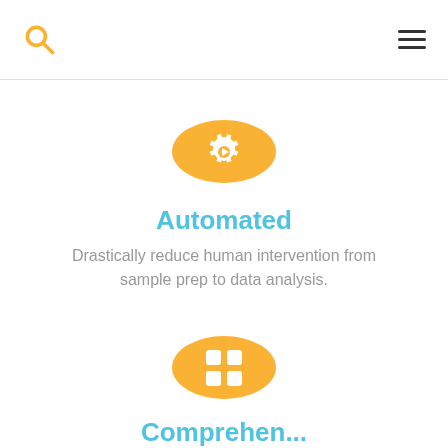[Figure (logo): Search icon (magnifying glass) in orange/yellow color at top left of header]
[Figure (logo): Hamburger menu icon (three horizontal lines) at top right of header]
[Figure (illustration): Orange circle with a white gear/settings icon containing a play button triangle in the center]
Automated
Drastically reduce human intervention from sample prep to data analysis.
[Figure (illustration): Orange circle with a white grid/apps icon (four squares in 2x2 layout)]
Comprehensive